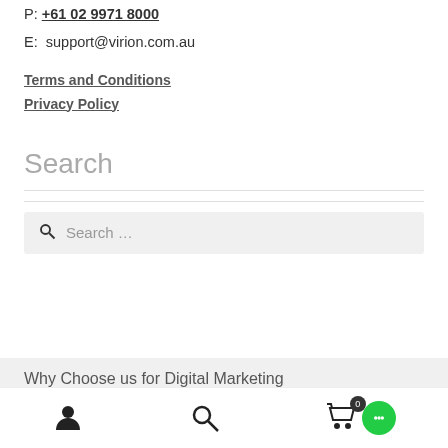P: +61 02 9971 8000
E:  support@virion.com.au
Terms and Conditions
Privacy Policy
Search
Search…
Why Choose us for Digital Marketing
User icon | Search icon | Cart (0) | Chat bubble